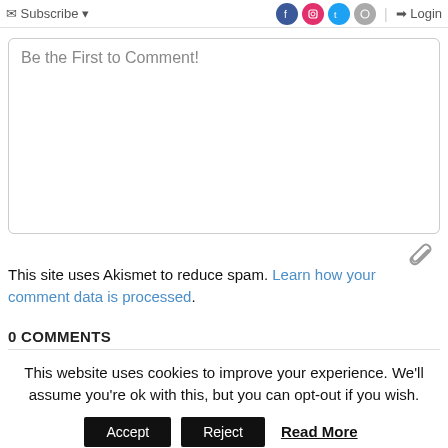Subscribe | Login
Be the First to Comment!
[Figure (other): Paperclip/attachment icon]
This site uses Akismet to reduce spam. Learn how your comment data is processed.
0 COMMENTS
This website uses cookies to improve your experience. We'll assume you're ok with this, but you can opt-out if you wish. Accept Reject Read More